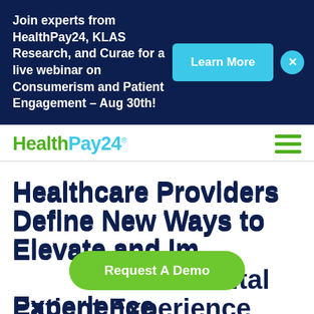Join experts from HealthPay24, KLAS Research, and Curae for a live webinar on Consumerism and Patient Engagement – Aug 30th!
Learn More
[Figure (logo): HealthPay24 logo in green and blue]
Healthcare Providers Define New Ways to Elevate and Improve the Digital Patient Experience
Request A Demo